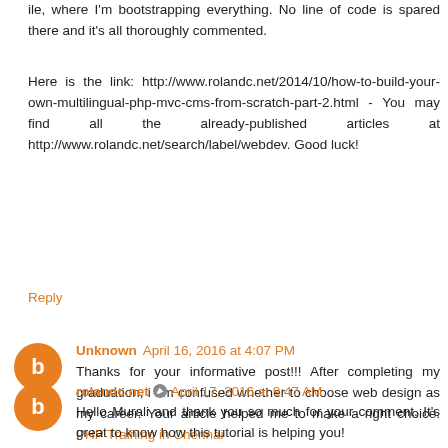ile, where I'm bootstrapping everything. No line of code is spared there and it's all thoroughly commented.
Here is the link: http://www.rolandc.net/2014/10/how-to-build-your-own-multilingual-php-mvc-cms-from-scratch-part-2.html - You may find all the already-published articles at http://www.rolandc.net/search/label/webdev. Good luck!
Reply
Unknown April 16, 2016 at 4:07 PM
Thanks for your informative post!!! After completing my graduation, i am confused whether to choose web design as my career. Your article helped me to make a right choice. PHP Training in Chennai
Reply
rolandc.net April 17, 2016 at 9:47 AM
Hello Murali and thank you so much for your comment. It's great to know how this tutorial is helping you!